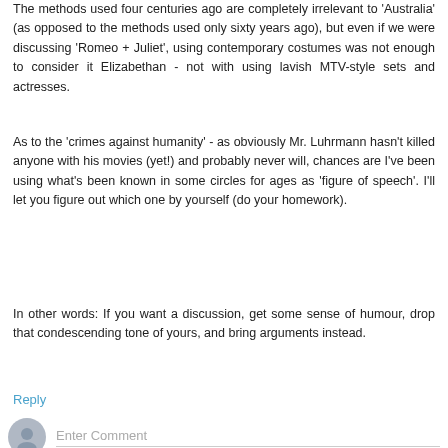The methods used four centuries ago are completely irrelevant to 'Australia' (as opposed to the methods used only sixty years ago), but even if we were discussing 'Romeo + Juliet', using contemporary costumes was not enough to consider it Elizabethan - not with using lavish MTV-style sets and actresses.
As to the 'crimes against humanity' - as obviously Mr. Luhrmann hasn't killed anyone with his movies (yet!) and probably never will, chances are I've been using what's been known in some circles for ages as 'figure of speech'. I'll let you figure out which one by yourself (do your homework).
In other words: If you want a discussion, get some sense of humour, drop that condescending tone of yours, and bring arguments instead.
Reply
Enter Comment